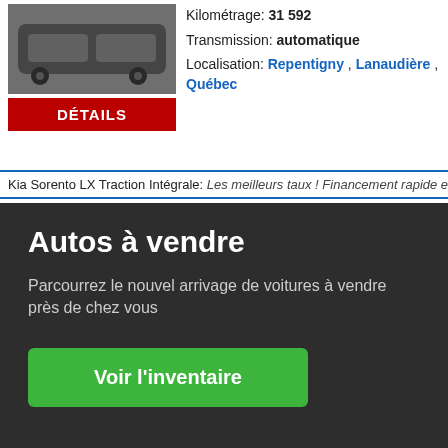[Figure (photo): Car photo thumbnail (dark SUV)]
Kilométrage: 31 592
Transmission: automatique
Localisation: Repentigny , Lanaudière , Québec
DÉTAILS
Kia Sorento LX Traction Intégrale: Les meilleurs taux ! Financement rapide et fac…
KIA SORENTO 2019 USAGÉ À VENDRE - REPENTIGNY
[Figure (photo): Close button (X) and car photo thumbnail]
Marque: Kia
Autos à vendre
Parcourrez le nouvel arrivage de voitures à vendre près de chez vous
Voir l'inventaire